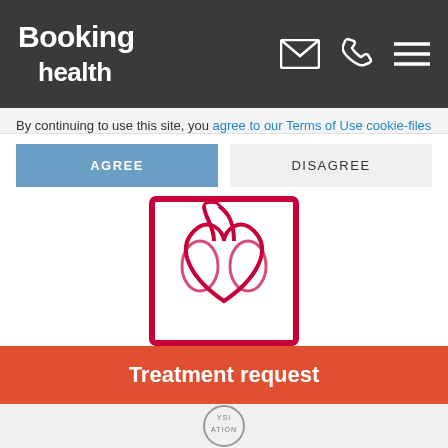Booking health [icons: mail, phone, menu]
By continuing to use this site, you agree to our Terms of Use cookie-files
AGREE | DISAGREE
[Figure (logo): DGK logo - Deutsche Gesellschaft für Kardiologie heart/cardiology symbol in pink/magenta inside a square border, with text DGK. below in bold black with red period]
[Figure (logo): Chest Pain Unit certification badge - octagonal seal reading CHEST PAIN UNIT with Deutsche Gesellschaft für Kardiologie – Herz- und Kreislaufforschung e.V. DGK-ZERTIFIZIERT in pink/magenta]
Treatment request